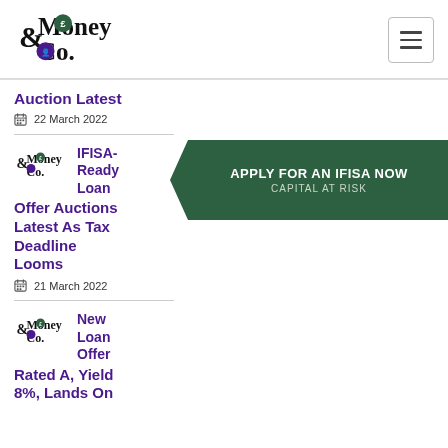Money&Co. logo and navigation
Auction Latest
22 March 2022
IFISA-Ready Loan Offer Auctions Latest As Tax Deadline Looms
21 March 2022
[Figure (infographic): Green pentagon/arrow banner reading APPLY FOR AN IFISA NOW / CAPITAL AT RISK]
New Loan Offer Rated A, Yield 8%, Lands On